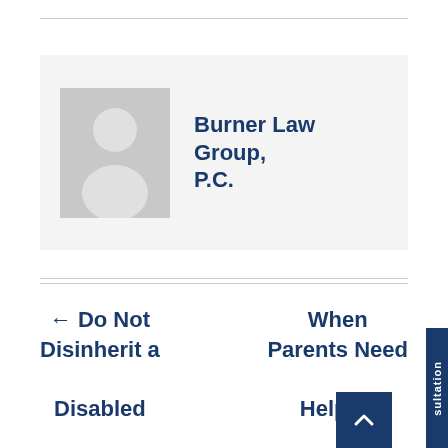[Figure (photo): Author profile card with placeholder avatar silhouette and law firm name]
Burner Law Group, P.C.
← Do Not Disinherit a Disabled Child
When Parents Need Help →